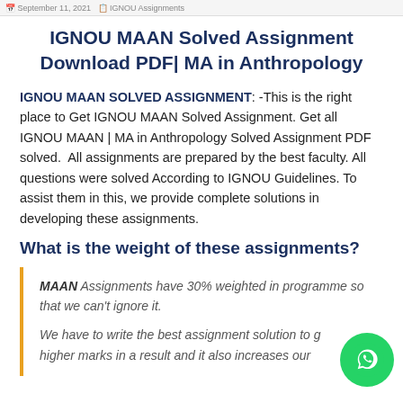September 11, 2021 | IGNOU Assignments
IGNOU MAAN Solved Assignment Download PDF| MA in Anthropology
IGNOU MAAN SOLVED ASSIGNMENT: -This is the right place to Get IGNOU MAAN Solved Assignment. Get all IGNOU MAAN | MA in Anthropology Solved Assignment PDF solved. All assignments are prepared by the best faculty. All questions were solved According to IGNOU Guidelines. To assist them in this, we provide complete solutions in developing these assignments.
What is the weight of these assignments?
MAAN Assignments have 30% weighted in programme so that we can't ignore it.
We have to write the best assignment solution to get higher marks in a result and it also increases our